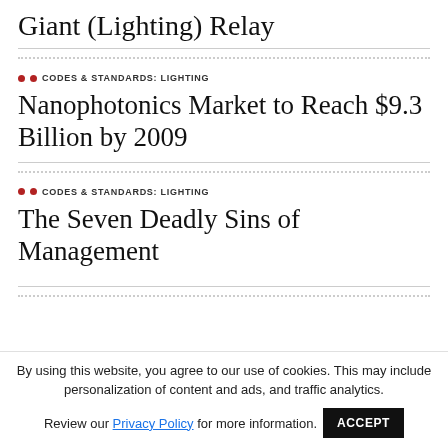Giant (Lighting) Relay
CODES & STANDARDS: LIGHTING
Nanophotonics Market to Reach $9.3 Billion by 2009
CODES & STANDARDS: LIGHTING
The Seven Deadly Sins of Management
By using this website, you agree to our use of cookies. This may include personalization of content and ads, and traffic analytics. Review our Privacy Policy for more information.